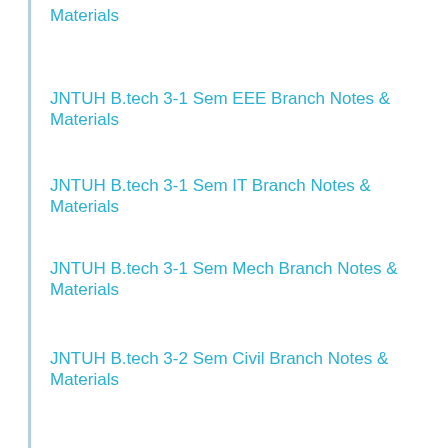Materials
JNTUH B.tech 3-1 Sem EEE Branch Notes & Materials
JNTUH B.tech 3-1 Sem IT Branch Notes & Materials
JNTUH B.tech 3-1 Sem Mech Branch Notes & Materials
JNTUH B.tech 3-2 Sem Civil Branch Notes & Materials
JNTUH B.tech 3-2 Sem ECE Branch Notes & Materials
JNTUH B.tech 3-2 Sem CSE Branch Notes & Materials